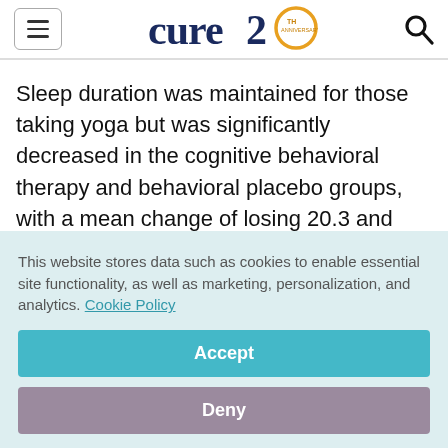cure 20th anniversary logo
Sleep duration was maintained for those taking yoga but was significantly decreased in the cognitive behavioral therapy and behavioral placebo groups, with a mean change of losing 20.3 and 26.6 minutes, for the cognitive behavioral therapy and placebo groups, respectively.
This website stores data such as cookies to enable essential site functionality, as well as marketing, personalization, and analytics. Cookie Policy
Accept
Deny